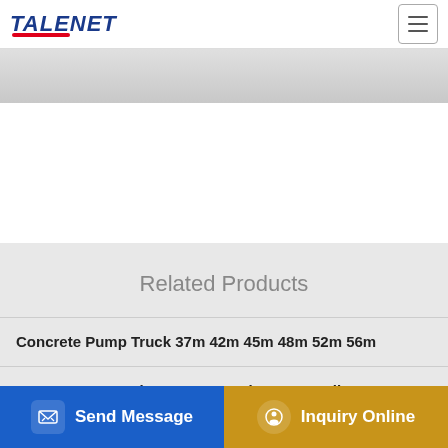TALENET
Related Products
Concrete Pump Truck 37m 42m 45m 48m 52m 56m
MCOM1264 120 Litre Concrete Mixer Buy Online
good quality hzs75 concrete mixing plant on sale-GOLD MINING
Vela Concrete Pumping ELocalPost King City
Send Message
Inquiry Online